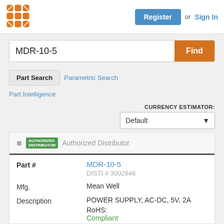[Figure (logo): Orange grid/lattice logo icon in top left]
Register or Sign In
MDR-10-5
Find
Part Search   Parametric Search
Part Intelligence
CURRENCY ESTIMATOR:
Default
Authorized Distributor
| Field | Value |
| --- | --- |
| Part # | MDR-10-5
DISTI # 3002946 |
| Mfg. | Mean Well |
| Description | POWER SUPPLY, AC-DC, 5V, 2A
RoHS: Compliant
Min Qty: 1 |